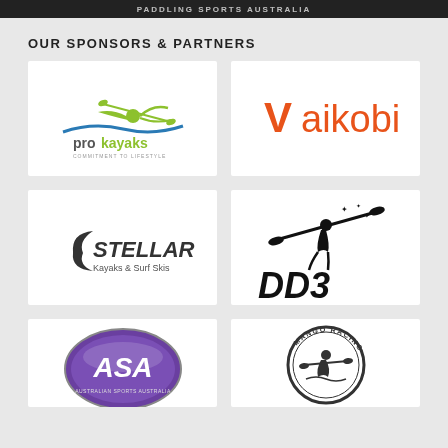PADDLING SPORTS AUSTRALIA
OUR SPONSORS & PARTNERS
[Figure (logo): ProKayaks logo — kayaker silhouette with paddle above wave, text 'prokayaks COMMITMENT TO LIFESTYLE']
[Figure (logo): Vaikobi logo — orange V followed by 'aikobi' in orange text]
[Figure (logo): Stellar Kayaks & Surf Skis logo — stylized C swoosh with 'STELLAR Kayaks & Surf Skis']
[Figure (logo): DD3 logo — paddler silhouette with stars and large bold 'DD3' text]
[Figure (logo): ASA (Australian Sports something) logo — purple circular badge with 'ASA']
[Figure (logo): Mango Racing logo — circular badge with paddler silhouette and 'MANGO RACING' text]